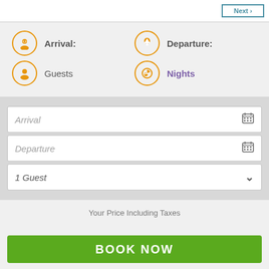[Figure (screenshot): Top bar with a bordered button in teal/blue]
Arrival:
Departure:
Guests
Nights
Arrival
Departure
1 Guest
Your Price Including Taxes
BOOK NOW